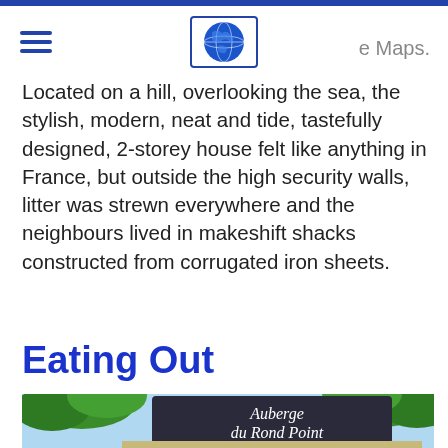e Maps.
Located on a hill, overlooking the sea, the stylish, modern, neat and tide, tastefully designed, 2-storey house felt like anything in France, but outside the high security walls, litter was strewn everywhere and the neighbours lived in makeshift shacks constructed from corrugated iron sheets.
Eating Out
[Figure (photo): Photo of Auberge du Rond Point restaurant exterior with a large dark sign reading 'Auberge du Rond Point' in white script lettering, surrounded by green trees and a light blue sky. Small building visible below with signage.]